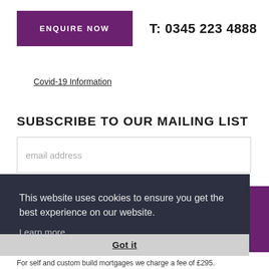ENQUIRE NOW
T: 0345 223 4888
Covid-19 Information
SUBSCRIBE TO OUR MAILING LIST
email address
This website uses cookies to ensure you get the best experience on our website. Learn more
Got it
For self and custom build mortgages we charge a fee of £295.